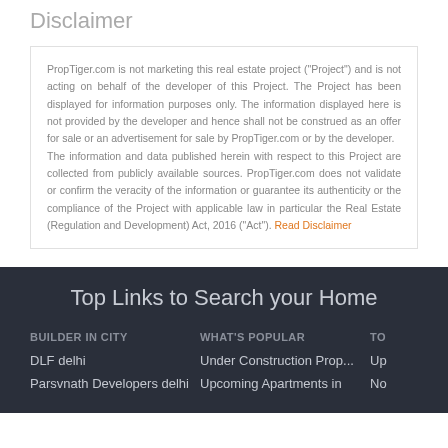Disclaimer
PropTiger.com is not marketing this real estate project ("Project") and is not acting on behalf of the developer of this Project. The Project has been displayed for information purposes only. The information displayed here is not provided by the developer and hence shall not be construed as an offer for sale or an advertisement for sale by PropTiger.com or by the developer.
The information and data published herein with respect to this Project are collected from publicly available sources. PropTiger.com does not validate or confirm the veracity of the information or guarantee its authenticity or the compliance of the Project with applicable law in particular the Real Estate (Regulation and Development) Act, 2016 (“Act”). Read Disclaimer
Top Links to Search your Home
BUILDER IN CITY
DLF delhi
Parsvnath Developers delhi
WHAT'S POPULAR
Under Construction Prop...
Upcoming Apartments in
TO
Up
No